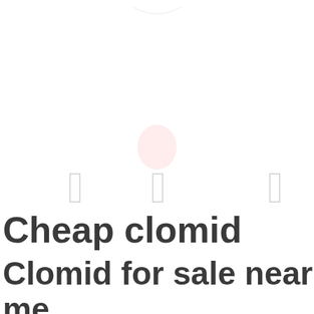[Figure (illustration): Faint decorative illustration at top of page showing UI elements including small rectangular icons/brackets and a light pink circular shape in the center, appearing to be a website or app interface screenshot fragment]
Cheap clomid
Clomid for sale near me